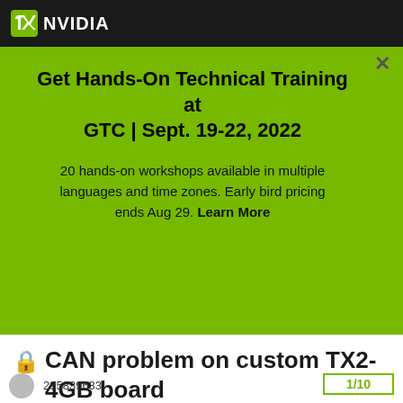[Figure (logo): NVIDIA logo in white on dark header bar]
Get Hands-On Technical Training at GTC | Sept. 19-22, 2022
20 hands-on workshops available in multiple languages and time zones. Early bird pricing ends Aug 29. Learn More
🔒 CAN problem on custom TX2-4GB board
Home > Autonomous Machines > Jetson & Embedded Systems > Jetson TX2
295839633
1/10